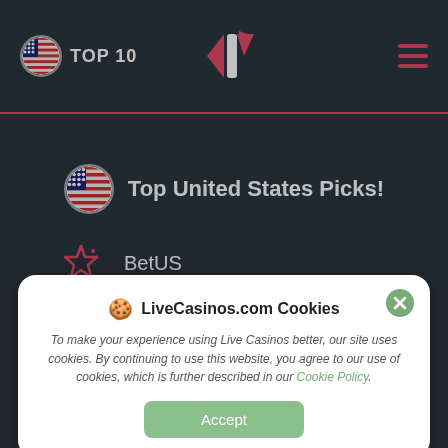TOP 10 | LiveCasinos.com logo | Menu
Top United States Picks!
BetUS
Ignition Casino
BetOnline (partial)
🍪 LiveCasinos.com Cookies

To make your experience using Live Casinos better, our site uses cookies. By continuing to use this website, you agree to our use of cookies, which is further described in our Cookie Policy.
Accept
Popular Pages